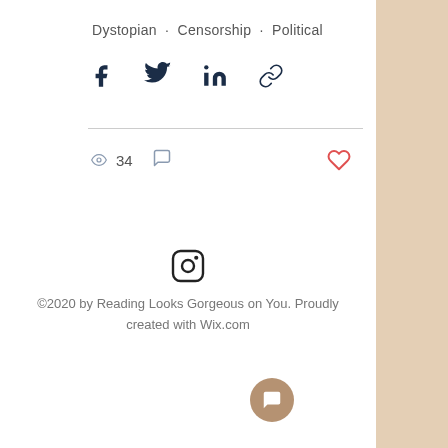Dystopian · Censorship · Political
[Figure (infographic): Social share icons: Facebook, Twitter, LinkedIn, Link]
34 views, comment icon, heart/like icon
[Figure (logo): Instagram logo icon]
©2020 by Reading Looks Gorgeous on You. Proudly created with Wix.com